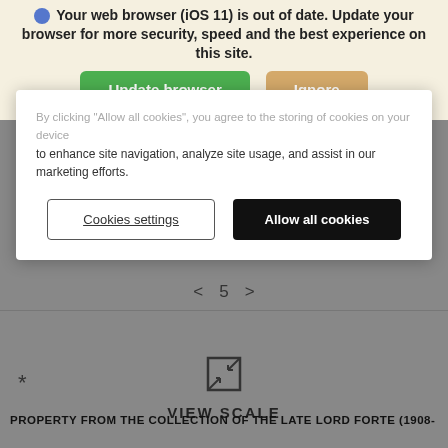Your web browser (iOS 11) is out of date. Update your browser for more security, speed and the best experience on this site.
[Figure (screenshot): Update browser / Ignore buttons in a browser update notification bar]
By clicking "Allow all cookies", you agree to the storing of cookies on your device to enhance site navigation, analyze site usage, and assist in our marketing efforts.
[Figure (screenshot): Cookie consent dialog with Cookies settings and Allow all cookies buttons]
< 5 >
[Figure (screenshot): VIEW SCALE icon and label]
*
PROPERTY FROM THE COLLECTION OF THE LATE LORD FORTE (1908-